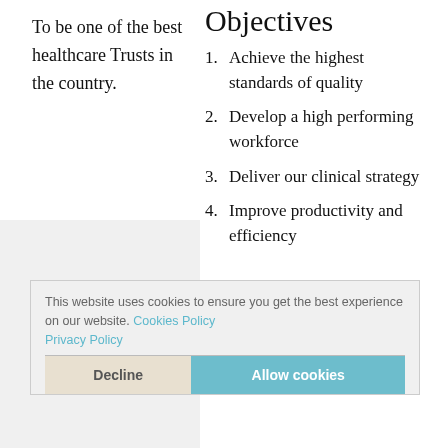To be one of the best healthcare Trusts in the country.
Objectives
1. Achieve the highest standards of quality
2. Develop a high performing workforce
3. Deliver our clinical strategy
4. Improve productivity and efficiency
This website uses cookies to ensure you get the best experience on our website. Cookies Policy Privacy Policy